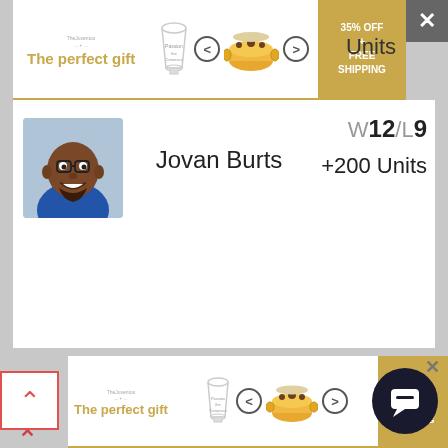[Figure (screenshot): Top advertisement banner for 'The perfect gift' showing cookware/glassware with 35% OFF + FREE SHIPPING offer]
[Figure (photo): Profile photo of Jovan Burts, a smiling man]
Jovan Burts
W12/L9 +200 Units
[Figure (screenshot): Bottom advertisement banner for 'The perfect gift' showing cookware/glassware with 35% OFF + FREE SHIPPING offer]